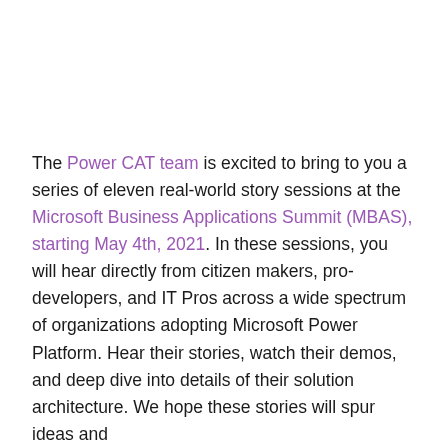The Power CAT team is excited to bring to you a series of eleven real-world story sessions at the Microsoft Business Applications Summit (MBAS), starting May 4th, 2021. In these sessions, you will hear directly from citizen makers, pro-developers, and IT Pros across a wide spectrum of organizations adopting Microsoft Power Platform. Hear their stories, watch their demos, and deep dive into details of their solution architecture. We hope these stories will spur ideas and